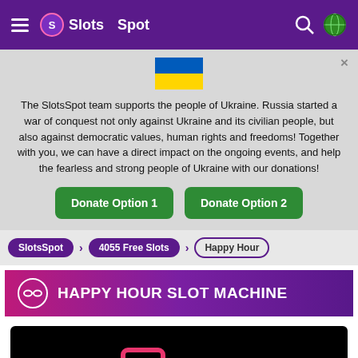Slots Spot
[Figure (illustration): Ukraine flag - blue top half, yellow bottom half]
The SlotsSpot team supports the people of Ukraine. Russia started a war of conquest not only against Ukraine and its civilian people, but also against democratic values, human rights and freedoms! Together with you, we can have a direct impact on the ongoing events, and help the fearless and strong people of Ukraine with our donations!
Donate Option 1
Donate Option 2
SlotsSpot > 4055 Free Slots > Happy Hour
HAPPY HOUR SLOT MACHINE
[Figure (screenshot): Black game canvas area showing partial slot machine graphics with pink and purple icons]